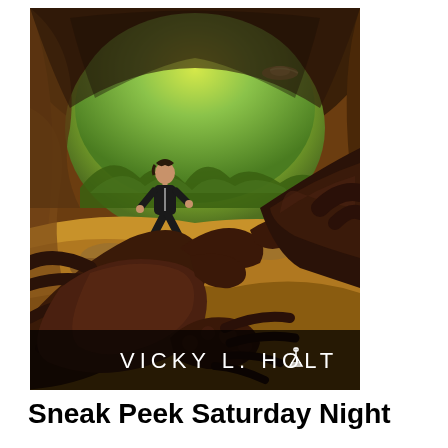[Figure (illustration): Book cover for Vicky L. Holt showing a sci-fi scene inside a cave. A woman in a black bodysuit is in a fighting stance facing a giant scorpion/crab creature in the foreground. In the background, green alien landscape with mountains is visible through a cave opening with a spacecraft in the sky. The author name 'VICKY L. HOLT' with a small flask/bottle logo is displayed at the bottom of the cover in white text on a dark background.]
Sneak Peek Saturday Night